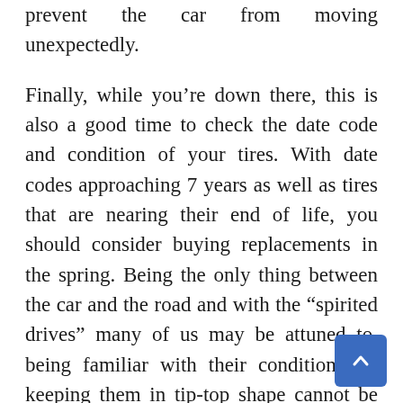prevent the car from moving unexpectedly.
Finally, while you're down there, this is also a good time to check the date code and condition of your tires. With date codes approaching 7 years as well as tires that are nearing their end of life, you should consider buying replacements in the spring. Being the only thing between the car and the road and with the “spirited drives” many of us may be attuned to, being familiar with their condition and keeping them in tip-top shape cannot be overstated.